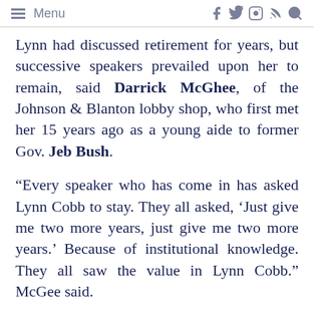Menu
Lynn had discussed retirement for years, but successive speakers prevailed upon her to remain, said Darrick McGhee, of the Johnson & Blanton lobby shop, who first met her 15 years ago as a young aide to former Gov. Jeb Bush.
“Every speaker who has come in has asked Lynn Cobb to stay. They all asked, ‘Just give me two more years, just give me two more years.’ Because of institutional knowledge. They all saw the value in Lynn Cobb.” McGee said.